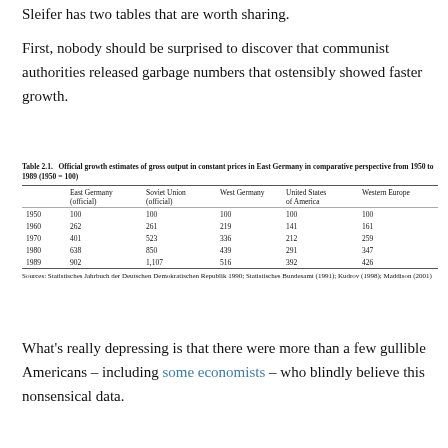Sleifer has two tables that are worth sharing.
First, nobody should be surprised to discover that communist authorities released garbage numbers that ostensibly showed faster growth.
Table 2.1. Official growth estimates of gross output in constant prices in East Germany in comparative perspective from 1950 to 1989 (1950 = 100)
|  | East Germany (official) | Soviet Union (official) | West Germany | United States of America | Western Europe |
| --- | --- | --- | --- | --- | --- |
| 1950 | 100 | 100 | 100 | 100 | 100 |
| 1960 | 262 | 261 | 219 | 141 | 161 |
| 1970 | 401 | 523 | 336 | 212 | 259 |
| 1980 | 638 | 850 | 439 | 291 | 347 |
| 1989 | 902 | 1,107 | 516 | 392 | 426 |
Sources: Statistisches Jahrbuch der Deutschen Demokratischen Republik 1990; Statistisches Bundesamt (1991); Kudrov (1998); Maddison (2001)
What’s really depressing is that there were more than a few gullible Americans – including some economists – who blindly believe this nonsensical data.